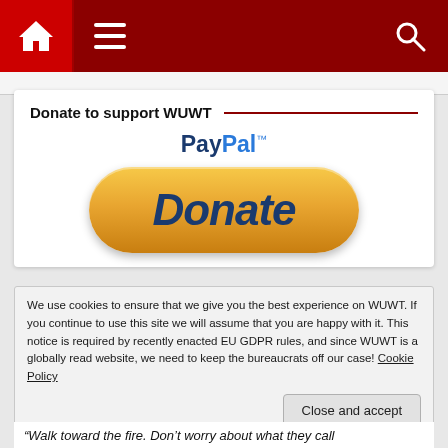[Figure (screenshot): Dark red navigation bar with home icon, hamburger menu icon, and search icon]
Donate to support WUWT
[Figure (logo): PayPal logo with Pay in dark blue and Pal in light blue, with trademark symbol]
[Figure (illustration): PayPal Donate button - gold/yellow pill-shaped button with dark blue italic bold text 'Donate']
We use cookies to ensure that we give you the best experience on WUWT. If you continue to use this site we will assume that you are happy with it. This notice is required by recently enacted EU GDPR rules, and since WUWT is a globally read website, we need to keep the bureaucrats off our case! Cookie Policy
Close and accept
“Walk toward the fire. Don’t worry about what they call